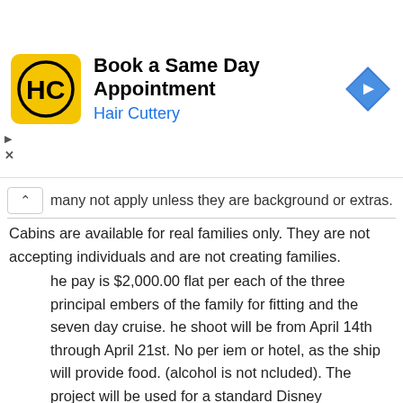[Figure (other): Hair Cuttery advertisement banner with logo, title 'Book a Same Day Appointment', subtitle 'Hair Cuttery', and navigation arrow icon]
many not apply unless they are background or extras. Cabins are available for real families only. They are not accepting individuals and are not creating families.
he pay is $2,000.00 flat per each of the three principal embers of the family for fitting and the seven day cruise. he shoot will be from April 14th through April 21st. No per iem or hotel, as the ship will provide food. (alcohol is not ncluded). The project will be used for a standard Disney release which will include worldwide all media in perpetuity.
How to Apply
Please email mark@mullencasting.com with recent photos (cell phone pics are great) and the date of birth of each